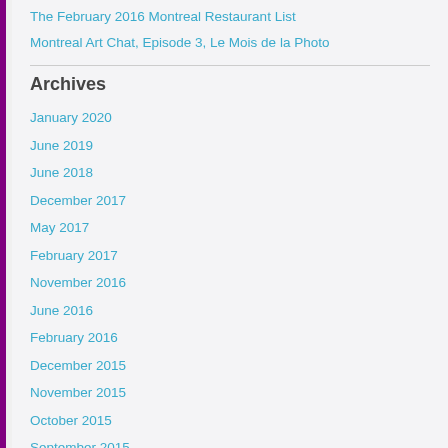The February 2016 Montreal Restaurant List
Montreal Art Chat, Episode 3, Le Mois de la Photo
Archives
January 2020
June 2019
June 2018
December 2017
May 2017
February 2017
November 2016
June 2016
February 2016
December 2015
November 2015
October 2015
September 2015
July 2015
May 2015
April 2015
February 2015